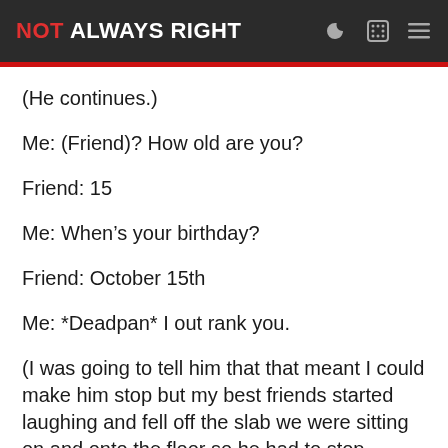NOT ALWAYS RIGHT
(He continues.)
Me: (Friend)? How old are you?
Friend: 15
Me: When’s your birthday?
Friend: October 15th
Me: *Deadpan* I out rank you.
(I was going to tell him that that meant I could make him stop but my best friends started laughing and fell off the slab we were sitting on and onto the floor so he had to stop anyway.)